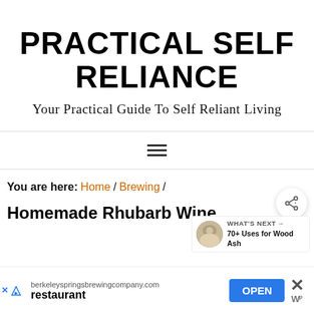PRACTICAL SELF RELIANCE
Your Practical Guide To Self Reliant Living
[Figure (other): Hamburger menu icon (three horizontal lines)]
[Figure (other): Share button icon (circle with share symbol)]
You are here: Home / Brewing /
[Figure (other): What's Next box with thumbnail image and text: WHAT'S NEXT → 70+ Uses for Wood Ash]
Homemade Rhubarb Wine
[Figure (other): Advertisement banner: berkeleyspringsbrewingcompany.com, restaurant, OPEN button, close X button, ad logo]